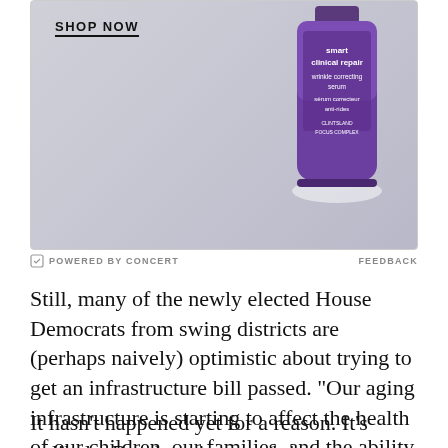[Figure (photo): Advertisement banner showing a purple product bottle labeled 'smart clinical repair wrinkle correcting serum' with 'SHOP NOW' text and a gradient grey background.]
POWERED BY CONCERT   FEEDBACK
Still, many of the newly elected House Democrats from swing districts are (perhaps naively) optimistic about trying to get an infrastructure bill passed. “Our aging infrastructure is starting to affect the health of our children, our families, and the ability to grow our economy,” Rep. Mikie Sherrill (D-NJ), who won a suburban district that had been held by Republicans since the mid-1980s, told Vox earlier this year.
It hasn’t happened yet for a reason. It’s unlikely. But there is enough interest on both sides that some